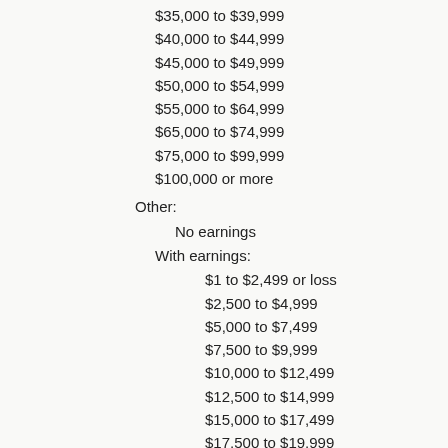$35,000 to $39,999
$40,000 to $44,999
$45,000 to $49,999
$50,000 to $54,999
$55,000 to $64,999
$65,000 to $74,999
$75,000 to $99,999
$100,000 or more
Other:
No earnings
With earnings:
$1 to $2,499 or loss
$2,500 to $4,999
$5,000 to $7,499
$7,500 to $9,999
$10,000 to $12,499
$12,500 to $14,999
$15,000 to $17,499
$17,500 to $19,999
$20,000 to $22,499
$22,500 to $24,999
$25,000 to $29,999
$30,000 to $34,999